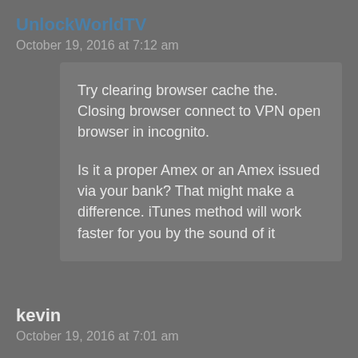UnlockWorldTV
October 19, 2016 at 7:12 am
Try clearing browser cache the. Closing browser connect to VPN open browser in incognito.
Is it a proper Amex or an Amex issued via your bank? That might make a difference. iTunes method will work faster for you by the sound of it
kevin
October 19, 2016 at 7:01 am